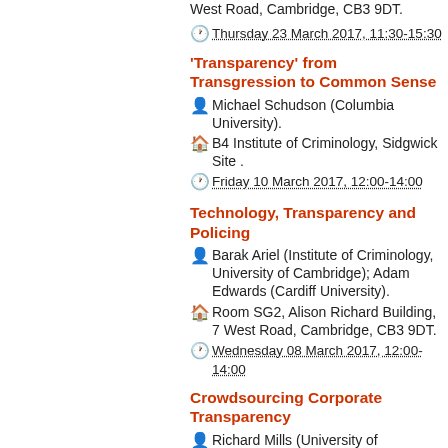West Road, Cambridge, CB3 9DT.
Thursday 23 March 2017, 11:30-15:30
'Transparency' from Transgression to Common Sense
Michael Schudson (Columbia University).
B4 Institute of Criminology, Sidgwick Site .
Friday 10 March 2017, 12:00-14:00
Technology, Transparency and Policing
Barak Ariel (Institute of Criminology, University of Cambridge); Adam Edwards (Cardiff University).
Room SG2, Alison Richard Building, 7 West Road, Cambridge, CB3 9DT.
Wednesday 08 March 2017, 12:00-14:00
Crowdsourcing Corporate Transparency
Richard Mills (University of Cambridge); Milena Marin (Amnesty).
Room SG2, Alison Richard Building, 7 West Road, Cambridge, CB3 9DT.
Wednesday 22 February 2017, 12:00-14:00